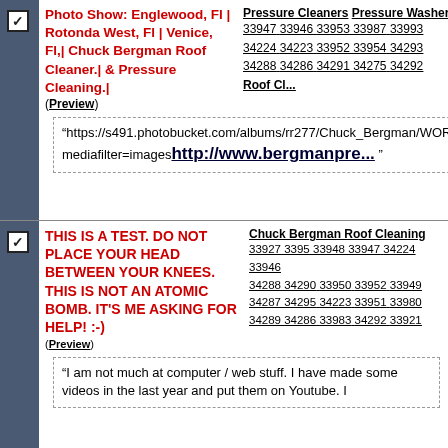Photo Show: Englewood, Fl | Rotonda West, Fl | Venice, Fl,| Chuck Bergman Roof Cleaner.| & Pressure Cleaning.| (Preview)
Pressure Cleaners Pressure Washer 33947 33946 33953 33987 33993 34224 34223 33952 33954 34293 34288 34286 34291 34275 34292 Roof Cl...
“https://s491.photobucket.com/albums/rr277/Chuck_Bergman/WORK/?mediafilter=images http://www.bergmanpre... ”
THIS IS A TEST. DO NOT PLACE YOUR HEAD BETWEEN YOUR KNEES. THIS IS NOT AN ATOMIC BOMB. IT’S ME ASKING FOR HELP! :-) (Preview)
Chuck Bergman Roof Cleaning 33927 3395 33948 33947 34224 33946 34288 34290 33950 33952 33949 34287 34295 34223 33951 33980 34289 34286 33983 34292 33921
“I am not much at computer / web stuff. I have made some videos in the last year and put them on Youtube. I